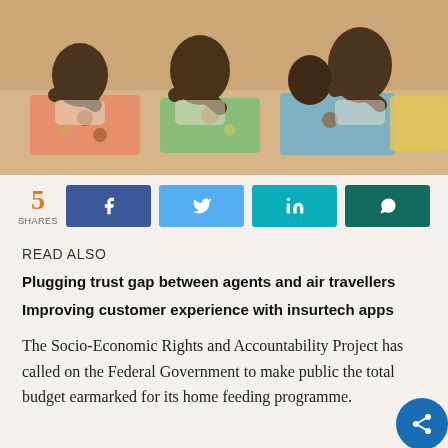[Figure (photo): Children eating food from colorful trays at a table, school feeding programme scene]
5 SHARES
Facebook share button, Twitter share button, LinkedIn share button, WhatsApp share button
READ ALSO
Plugging trust gap between agents and air travellers
Improving customer experience with insurtech apps
The Socio-Economic Rights and Accountability Project has called on the Federal Government to make public the total budget earmarked for its home feeding programme.